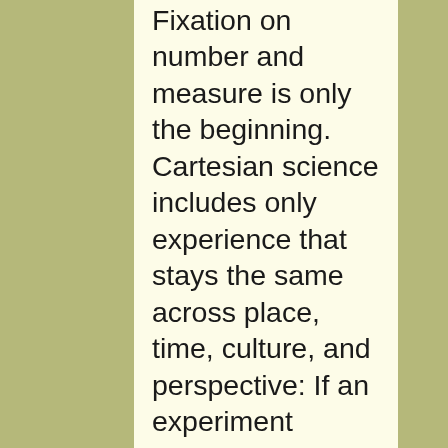Fixation on number and measure is only the beginning. Cartesian science includes only experience that stays the same across place, time, culture, and perspective: If an experiment comes out differently in different places and times, or for different people, it is excluded; if an experience cannot be made uniform among observers, it is excluded. Cartesian science demands that experience be controllable and predictable, and that we, the experiencing perspectives, be